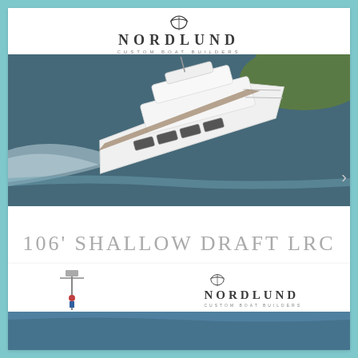[Figure (logo): Nordlund Custom Boat Builders logo with stylized wave/anchor icon above the text]
[Figure (photo): Aerial photo of a large white luxury motor yacht (106 ft) underway on dark water near a forested shoreline]
106' SHALLOW DRAFT LRC
[Figure (photo): Partial view of another Nordlund vessel with mast/communications gear visible, and a second Nordlund logo, at bottom of page]